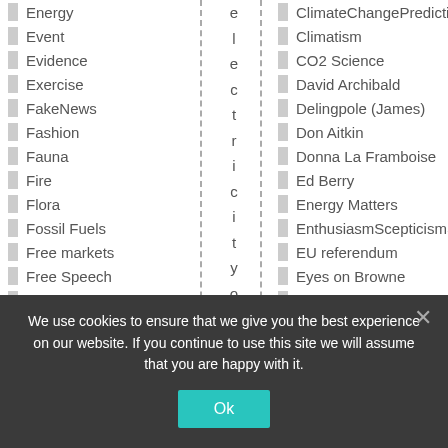Energy
Event
Evidence
Exercise
FakeNews
Fashion
Fauna
Fire
Flora
Fossil Fuels
Free markets
Free Speech
Funny stuff
Gene Therapy
Genetics
electricityontheAu
ClimateChangePredictions
Climatism
CO2 Science
David Archibald
Delingpole (James)
Don Aitkin
Donna La Framboise
Ed Berry
Energy Matters
EnthusiasmScepticismScience
EU referendum
Eyes on Browne
Fenbeagle
Freemarket America
Galileo Movement
We use cookies to ensure that we give you the best experience on our website. If you continue to use this site we will assume that you are happy with it. Ok